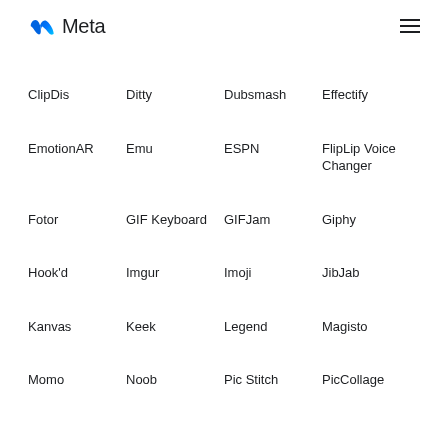Meta
ClipDis
Ditty
Dubsmash
Effectify
EmotionAR
Emu
ESPN
FlipLip Voice Changer
Fotor
GIF Keyboard
GIFJam
Giphy
Hook'd
Imgur
Imoji
JibJab
Kanvas
Keek
Legend
Magisto
Momo
Noob
Pic Stitch
PicCollage